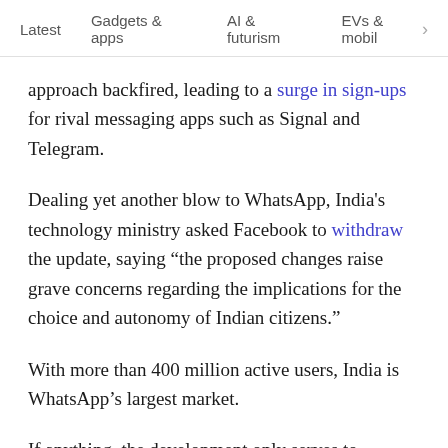Latest   Gadgets & apps   AI & futurism   EVs & mobil  >
approach backfired, leading to a surge in sign-ups for rival messaging apps such as Signal and Telegram.
Dealing yet another blow to WhatsApp, India's technology ministry asked Facebook to withdraw the update, saying “the proposed changes raise grave concerns regarding the implications for the choice and autonomy of Indian citizens.”
With more than 400 million active users, India is WhatsApp’s largest market.
If anything, the development only serves to highlight the urgent need for more countries to pass European GDPR-like data protection regulations that